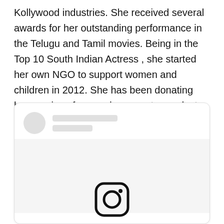Kollywood industries. She received several awards for her outstanding performance in the Telugu and Tamil movies. Being in the Top 10 South Indian Actress , she started her own NGO to support women and children in 2012. She has been donating her earnings from endorsements, products launches, and more to her NGO.
[Figure (screenshot): A social media post card (Instagram embed placeholder) showing a circular avatar placeholder, two gray bars for name/handle, a large blank image area, and an Instagram logo icon at the bottom center.]